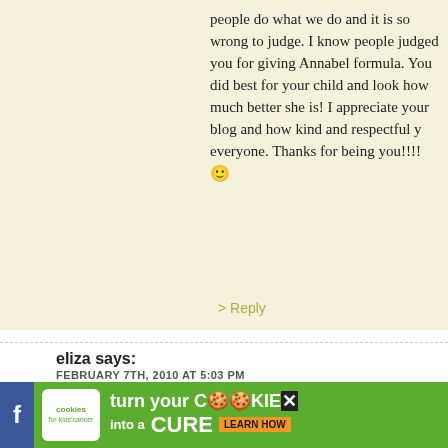people do what we do and it is so wrong to judge. I know people judged you for giving Annabel formula. You did the best for your child and look how much better she is! I appreciate your blog and how kind and respectful you are to everyone. Thanks for being you!!!! 🙂
> Reply
eliza says:
FEBRUARY 7TH, 2010 AT 5:03 PM
Nothing to say about vaccines. To each their own and who judges you for anything, go away. And having about 24 hours of formula? Like that's going to h... the most ridiculous thing I've ever heard. Sorry I create another fire storm. I just can't stand for an... your case for anything, but that one is just really... independent from any protective feelings I have...
> Reply
[Figure (other): Advertisement banner: Cookies for Kids Cancer - turn your cookies into a cure, learn how]